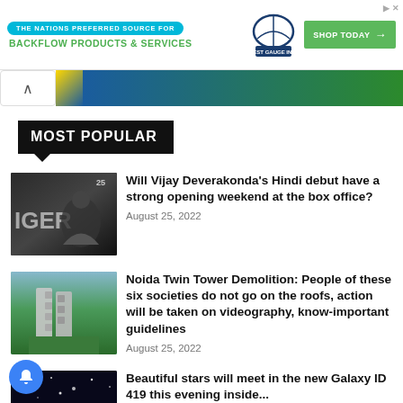[Figure (screenshot): Advertisement banner for Test Gauge Inc. — backflow products and services, with Shop Today button]
[Figure (screenshot): Hero image strip partially visible with navigation arrow]
MOST POPULAR
[Figure (photo): Movie poster for IGER showing a fighter in crouching stance]
Will Vijay Deverakonda's Hindi debut have a strong opening weekend at the box office?
August 25, 2022
[Figure (photo): Photo of Noida twin towers / buildings with greenery]
Noida Twin Tower Demolition: People of these six societies do not go on the roofs, action will be taken on videography, know-important guidelines
August 25, 2022
[Figure (photo): Night sky with stars photo (partially visible)]
Beautiful stars will meet in the new Galaxy ID 419 this evening inside...